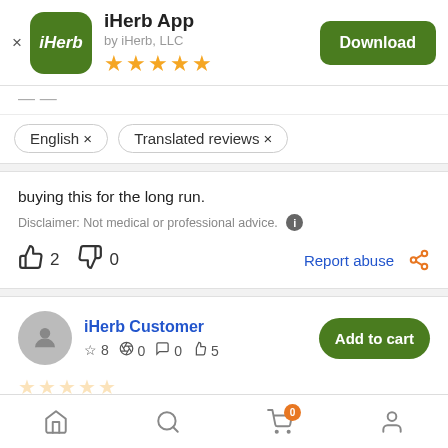iHerb App by iHerb, LLC — Download button
-- (separator)
English × Translated reviews ×
buying this for the long run.
Disclaimer: Not medical or professional advice. ℹ
👍 2  👎 0  Report abuse  share
iHerb Customer  ☆8  📷0  💬0  👍5  Add to cart
Home  Search  Cart(0)  Account